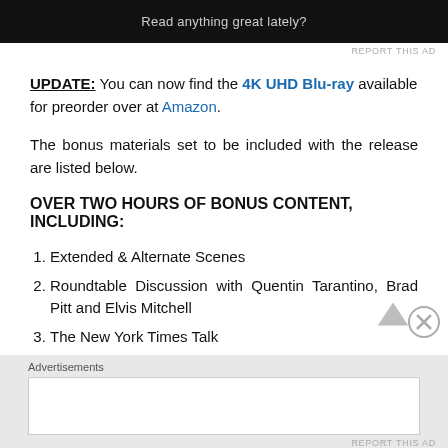[Figure (other): Black advertisement banner with text 'Read anything great lately?']
REPORT THIS AD
UPDATE: You can now find the 4K UHD Blu-ray available for preorder over at Amazon.
The bonus materials set to be included with the release are listed below.
OVER TWO HOURS OF BONUS CONTENT, INCLUDING:
Extended & Alternate Scenes
Roundtable Discussion with Quentin Tarantino, Brad Pitt and Elvis Mitchell
The New York Times Talk
Advertisements
[Figure (other): Advertisement placeholder box]